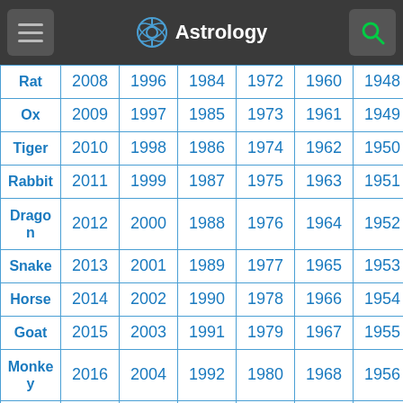Astrology
| Animal | Year1 | Year2 | Year3 | Year4 | Year5 | Year6 |
| --- | --- | --- | --- | --- | --- | --- |
| Rat | 2008 | 1996 | 1984 | 1972 | 1960 | 1948 |
| Ox | 2009 | 1997 | 1985 | 1973 | 1961 | 1949 |
| Tiger | 2010 | 1998 | 1986 | 1974 | 1962 | 1950 |
| Rabbit | 2011 | 1999 | 1987 | 1975 | 1963 | 1951 |
| Dragon | 2012 | 2000 | 1988 | 1976 | 1964 | 1952 |
| Snake | 2013 | 2001 | 1989 | 1977 | 1965 | 1953 |
| Horse | 2014 | 2002 | 1990 | 1978 | 1966 | 1954 |
| Goat | 2015 | 2003 | 1991 | 1979 | 1967 | 1955 |
| Monkey | 2016 | 2004 | 1992 | 1980 | 1968 | 1956 |
| Rooster | 2017 | 2005 | 1993 | 1981 | 1969 | 1957 |
| Dog | 2018 | 2006 | 1994 | 1982 | 1970 | 1958 |